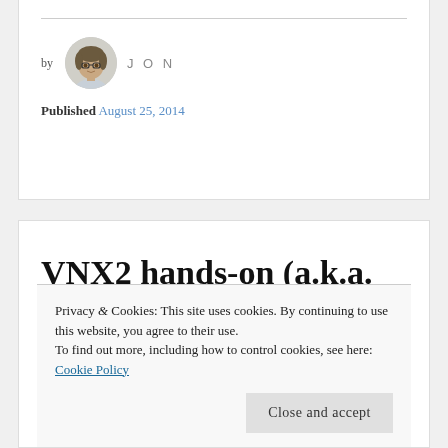by JON
Published August 25, 2014
VNX2 hands-on (a.k.a. Who stole my SPS?!)
Privacy & Cookies: This site uses cookies. By continuing to use this website, you agree to their use.
To find out more, including how to control cookies, see here: Cookie Policy
Close and accept
te